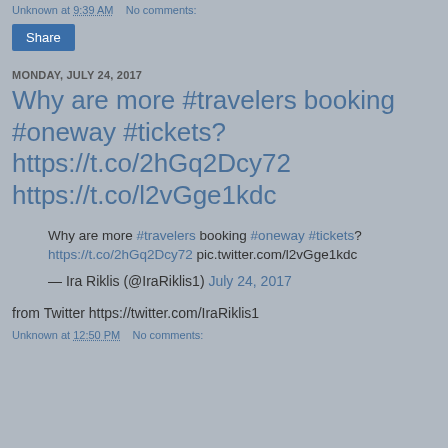Unknown at 9:39 AM   No comments:
Share
MONDAY, JULY 24, 2017
Why are more #travelers booking #oneway #tickets? https://t.co/2hGq2Dcy72 https://t.co/l2vGge1kdc
Why are more #travelers booking #oneway #tickets? https://t.co/2hGq2Dcy72 pic.twitter.com/l2vGge1kdc
— Ira Riklis (@IraRiklis1) July 24, 2017
from Twitter https://twitter.com/IraRiklis1
Unknown at 12:50 PM   No comments: